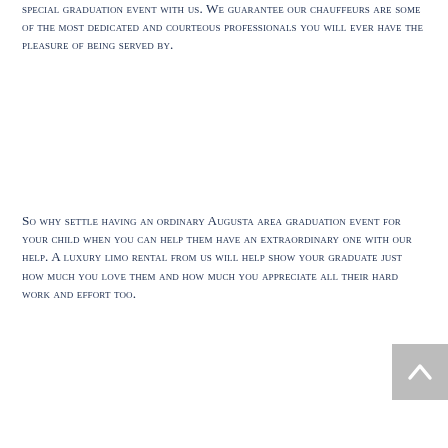special graduation event with us. We guarantee our chauffeurs are some of the most dedicated and courteous professionals you will ever have the pleasure of being served by.
So why settle having an ordinary Augusta area graduation event for your child when you can help them have an extraordinary one with our help. A luxury limo rental from us will help show your graduate just how much you love them and how much you appreciate all their hard work and effort too.